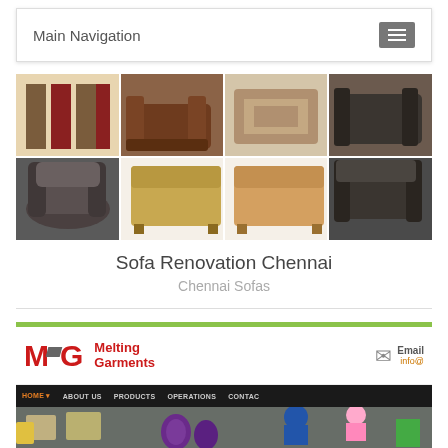Main Navigation
[Figure (photo): Collage of furniture: sofas, beds, recliners in multiple panel grid layout]
Sofa Renovation Chennai
Chennai Sofas
[Figure (screenshot): Screenshot of Melting Garments website header with MG logo, email contact, dark navigation bar (HOME, ABOUT US, PRODUCTS, OPERATIONS, CONTACT), and factory workers sewing photo]